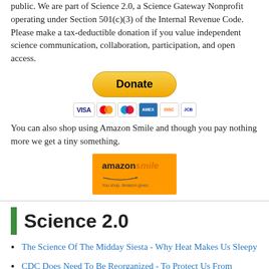public. We are part of Science 2.0, a Science Gateway Nonprofit operating under Section 501(c)(3) of the Internal Revenue Code. Please make a tax-deductible donation if you value independent science communication, collaboration, participation, and open access.
[Figure (other): PayPal Donate button with payment card icons (Visa, Mastercard, Maestro, Amex, Discover, JCB)]
You can also shop using Amazon Smile and though you pay nothing more we get a tiny something.
[Figure (logo): Amazon Smile logo on orange background]
Science 2.0
The Science Of The Midday Siesta - Why Heat Makes Us Sleepy
CDC Does Need To Be Reorganized - To Protect Us From